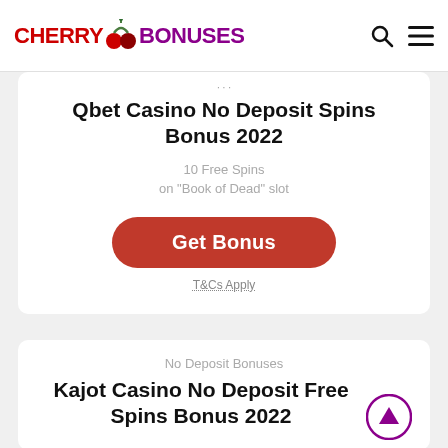CHERRY BONUSES
Qbet Casino No Deposit Spins Bonus 2022
10 Free Spins
on "Book of Dead" slot
Get Bonus
T&Cs Apply
No Deposit Bonuses
Kajot Casino No Deposit Free Spins Bonus 2022